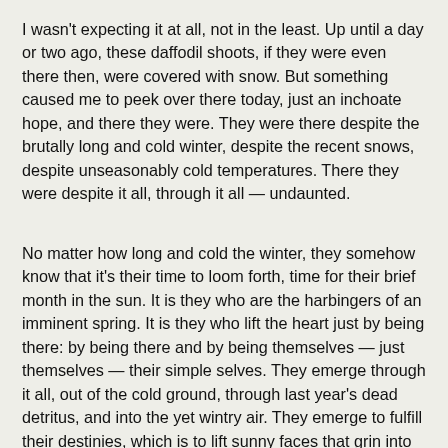I wasn't expecting it at all, not in the least. Up until a day or two ago, these daffodil shoots, if they were even there then, were covered with snow. But something caused me to peek over there today, just an inchoate hope, and there they were. They were there despite the brutally long and cold winter, despite the recent snows, despite unseasonably cold temperatures. There they were despite it all, through it all — undaunted.
No matter how long and cold the winter, they somehow know that it's their time to loom forth, time for their brief month in the sun. It is they who are the harbingers of an imminent spring. It is they who lift the heart just by being there: by being there and by being themselves — just themselves — their simple selves. They emerge through it all, out of the cold ground, through last year's dead detritus, and into the yet wintry air. They emerge to fulfill their destinies, which is to lift sunny faces that grin into April's relentless winds.